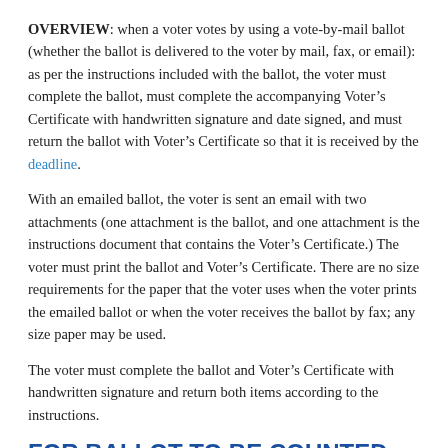OVERVIEW: when a voter votes by using a vote-by-mail ballot (whether the ballot is delivered to the voter by mail, fax, or email): as per the instructions included with the ballot, the voter must complete the ballot, must complete the accompanying Voter's Certificate with handwritten signature and date signed, and must return the ballot with Voter's Certificate so that it is received by the deadline.
With an emailed ballot, the voter is sent an email with two attachments (one attachment is the ballot, and one attachment is the instructions document that contains the Voter's Certificate.) The voter must print the ballot and Voter's Certificate. There are no size requirements for the paper that the voter uses when the voter prints the emailed ballot or when the voter receives the ballot by fax; any size paper may be used.
The voter must complete the ballot and Voter's Certificate with handwritten signature and return both items according to the instructions.
FOR BALLOT TO BE COUNTED, SIGNATURE RETURNED WITH VOTED BALLOT MUST MATCH SIGNATURE ON RECORD
For a ballot to be counted, the signature returned with the voted ballot